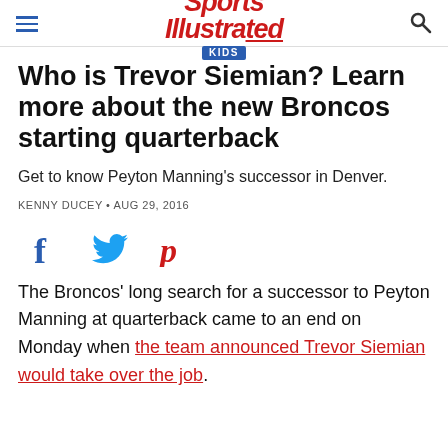Sports Illustrated KIDS
Who is Trevor Siemian? Learn more about the new Broncos starting quarterback
Get to know Peyton Manning’s successor in Denver.
KENNY DUCEY • AUG 29, 2016
[Figure (other): Social sharing icons: Facebook, Twitter, Pinterest]
The Broncos’ long search for a successor to Peyton Manning at quarterback came to an end on Monday when the team announced Trevor Siemian would take over the job.